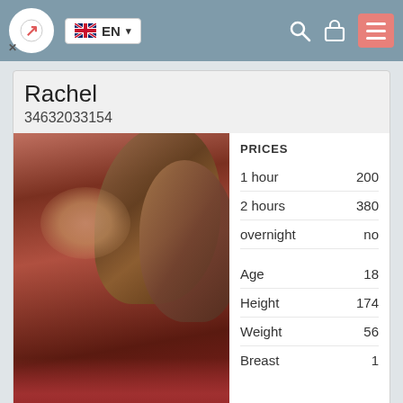EN — navigation bar with search, lock, and menu icons
Rachel
34632033154
[Figure (photo): Close-up photo of a person with brown hair against a red background, labeled 'Fotos']
|  |  |
| --- | --- |
| PRICES |  |
| 1 hour | 200 |
| 2 hours | 380 |
| overnight | no |
| Age | 18 |
| Height | 174 |
| Weight | 56 |
| Breast | 1 |
Samantha